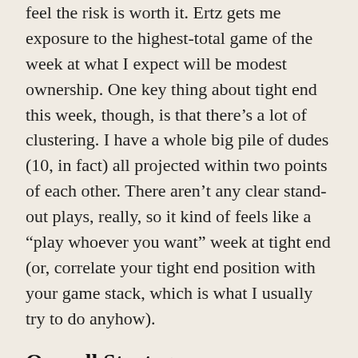feel the risk is worth it. Ertz gets me exposure to the highest-total game of the week at what I expect will be modest ownership. One key thing about tight end this week, though, is that there’s a lot of clustering. I have a whole big pile of dudes (10, in fact) all projected within two points of each other. There aren’t any clear stand-out plays, really, so it kind of feels like a “play whoever you want” week at tight end (or, correlate your tight end position with your game stack, which is what I usually try to do anyhow).
Overall Strategy:
One thing that’s tougher about Superdraft sometimes is adjusting to the format when thinking about game stacks. Multipliers can attract us to different game stacks than we would use on a salary-based site, as